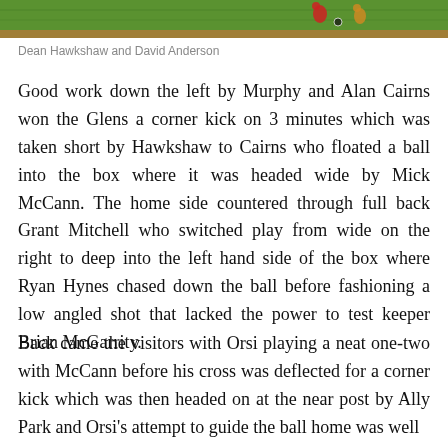[Figure (photo): A football/soccer match action photo on green grass, showing players in motion]
Dean Hawkshaw and David Anderson
Good work down the left by Murphy and Alan Cairns won the Glens a corner kick on 3 minutes which was taken short by Hawkshaw to Cairns who floated a ball into the box where it was headed wide by Mick McCann. The home side countered through full back Grant Mitchell who switched play from wide on the right to deep into the left hand side of the box where Ryan Hynes chased down the ball before fashioning a low angled shot that lacked the power to test keeper Brian McGarrity.
Back came the visitors with Orsi playing a neat one-two with McCann before his cross was deflected for a corner kick which was then headed on at the near post by Ally Park and Orsi's attempt to guide the ball home was well